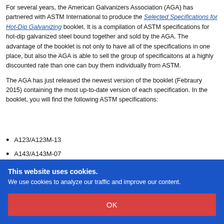For several years, the American Galvanizers Association (AGA) has partnered with ASTM International to produce the Selected Specifications for Hot-Dip Galvanizing booklet. It is a compilation of ASTM specifications for hot-dip galvanized steel bound together and sold by the AGA. The advantage of the booklet is not only to have all of the specifications in one place, but also the AGA is able to sell the group of specificaitons at a highly discounted rate than one can buy them individually from ASTM.
The AGA has just released the newest version of the booklet (Febraury 2015) containing the most up-to-date version of each specification. In the booklet, you will find the following ASTM specifications:
A123/A123M-13
A143/A143M-07
This website uses cookies. We use cookies to analyze our traffic and improve our content.